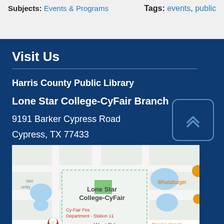Subjects: Events & Programs
Tags: events, public
Visit Us
Harris County Public Library
Lone Star College-CyFair Branch
9191 Barker Cypress Road
Cypress, TX 77433
[Figure (map): Google Map showing Lone Star College-CyFair location at 9191 Barker Cypress Road, Cypress TX 77433. Nearby landmarks shown include Whataburger, Cy-Fair Fire Department Station 11, and Raising Cane's Chicken Fingers. West Rd visible at bottom.]